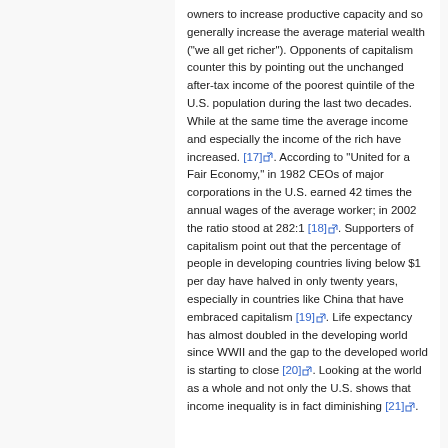owners to increase productive capacity and so generally increase the average material wealth ("we all get richer"). Opponents of capitalism counter this by pointing out the unchanged after-tax income of the poorest quintile of the U.S. population during the last two decades. While at the same time the average income and especially the income of the rich have increased. [17]. According to "United for a Fair Economy," in 1982 CEOs of major corporations in the U.S. earned 42 times the annual wages of the average worker; in 2002 the ratio stood at 282:1 [18]. Supporters of capitalism point out that the percentage of people in developing countries living below $1 per day have halved in only twenty years, especially in countries like China that have embraced capitalism [19]. Life expectancy has almost doubled in the developing world since WWII and the gap to the developed world is starting to close [20]. Looking at the world as a whole and not only the U.S. shows that income inequality is in fact diminishing [21].